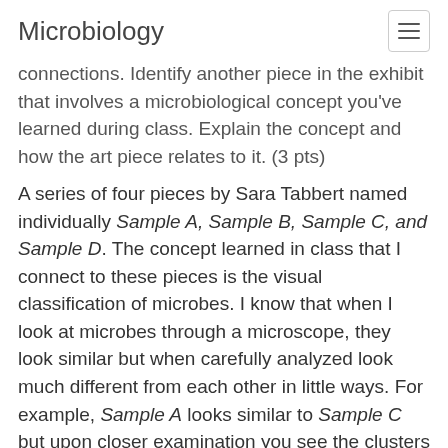Microbiology
connections. Identify another piece in the exhibit that involves a microbiological concept you've learned during class. Explain the concept and how the art piece relates to it. (3 pts)
A series of four pieces by Sara Tabbert named individually Sample A, Sample B, Sample C, and Sample D. The concept learned in class that I connect to these pieces is the visual classification of microbes. I know that when I look at microbes through a microscope, they look similar but when carefully analyzed look much different from each other in little ways. For example, Sample A looks similar to Sample C but upon closer examination you see the clusters are different. The radically different color schemes each piece makes it clear that the microbes are vastly different as I think was the artist's intent. Then of course there are ways